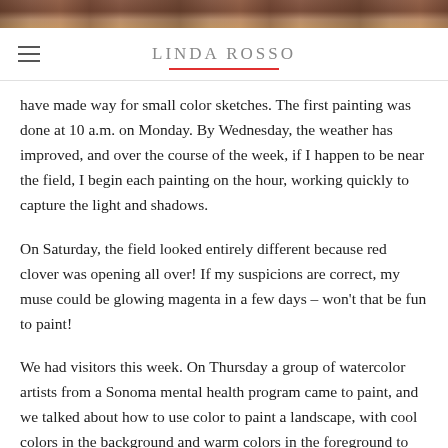[Figure (photo): Partial photo strip at top of page, showing warm brown and reddish tones]
LINDA ROSSO
have made way for small color sketches. The first painting was done at 10 a.m. on Monday. By Wednesday, the weather has improved, and over the course of the week, if I happen to be near the field, I begin each painting on the hour, working quickly to capture the light and shadows.
On Saturday, the field looked entirely different because red clover was opening all over! If my suspicions are correct, my muse could be glowing magenta in a few days – won't that be fun to paint!
We had visitors this week. On Thursday a group of watercolor artists from a Sonoma mental health program came to paint, and we talked about how to use color to paint a landscape, with cool colors in the background and warm colors in the foreground to create depth. It was great to be able to share art with this delightful group which comes to visit once during each artist's stay.